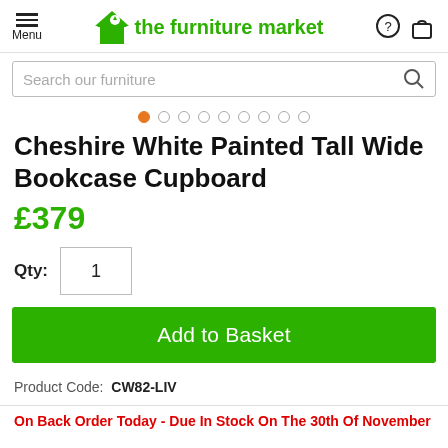Menu | the furniture market
Search our furniture
[Figure (other): Carousel dot navigation with 9 dots, first dot orange/active, rest grey outline]
Cheshire White Painted Tall Wide Bookcase Cupboard
£379
Qty: 1
Add to Basket
Product Code: CW82-LIV
On Back Order Today - Due In Stock On The 30th Of November